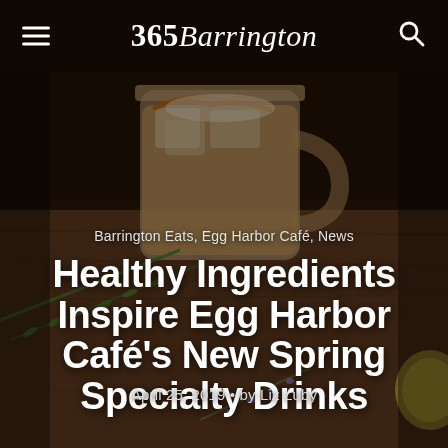365Barrington
Barrington Eats, Egg Harbor Café, News
Healthy Ingredients Inspire Egg Harbor Café's New Spring Specialty Drinks
April 25, 2019 • by Liz Luby
[Figure (photo): Iced coffee drink in a mason jar mug with caramel drizzle, surrounded by rosemary sprigs, lavender, and lemon slices on a wooden surface, with a dark blurred background.]